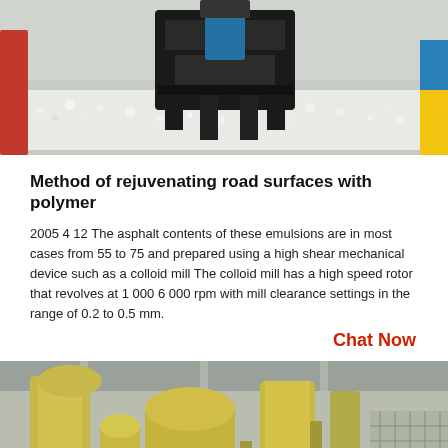[Figure (photo): Industrial machinery — a black mechanical compaction device resting on white aggregate/gravel material, with red and yellow/blue borders or machinery visible in the background.]
Method of rejuvenating road surfaces with polymer
2005 4 12 The asphalt contents of these emulsions are in most cases from 55 to 75 and prepared using a high shear mechanical device such as a colloid mill The colloid mill has a high speed rotor that revolves at 1 000 6 000 rpm with mill clearance settings in the range of 0.2 to 0.5 mm.
Chat Now
[Figure (photo): Industrial milling or grinding plant interior — large yellow-painted pipe ductwork, cyclone separators, and structural steel framework inside a factory building with natural light coming through roof panels.]